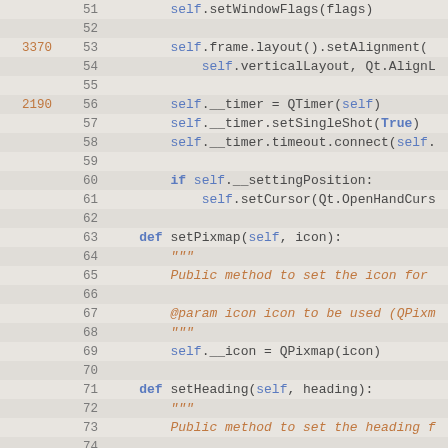Code listing showing Python class methods with line numbers and blame annotations (lines 51-80)